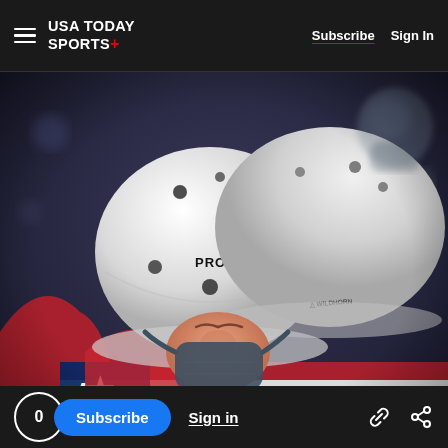USA TODAY SPORTS+  Subscribe  Sign In
[Figure (photo): Two athletes wearing white helmets embrace, one with a PRO-TEC helmet and a Wildhorn branded helmet, both wearing face masks, wrapped in an American flag with a blue/red background, likely at a Winter Olympics event.]
0  Subscribe  Sign in  [link icon]  [share icon]